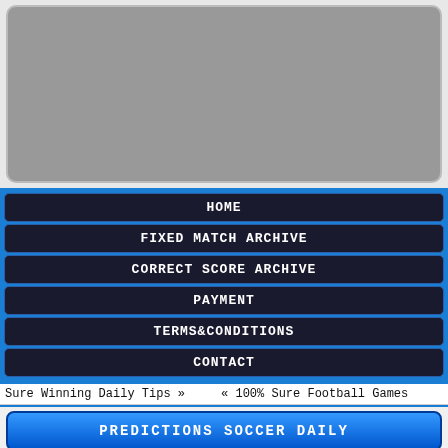[Figure (other): Gray advertisement banner placeholder]
HOME
FIXED MATCH ARCHIVE
CORRECT SCORE ARCHIVE
PAYMENT
TERMS&CONDITIONS
CONTACT
Sure Winning Daily Tips »      « 100% Sure Football Games
PREDICTIONS SOCCER DAILY
Predictions Soccer Daily
[Figure (illustration): FREE PREDICTIONS stylized 3D cyan/blue italic text graphic]